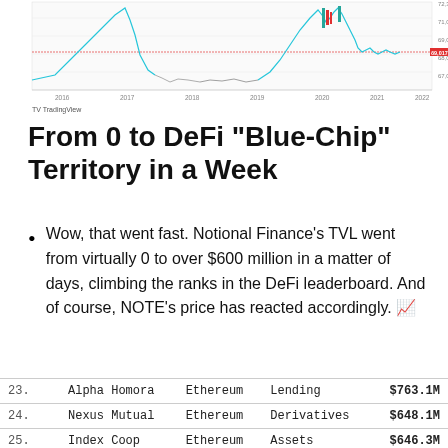[Figure (continuous-plot): TradingView candlestick/line chart showing price history from 2016 to 2022 with green/red candles and a highlighted price level around 69,017. Y-axis shows values from ~67,000 to 72,000. X-axis shows years 2016-2022. TradingView watermark at bottom left.]
From 0 to DeFi “Blue-Chip” Territory in a Week
Wow, that went fast. Notional Finance’s TVL went from virtually 0 to over $600 million in a matter of days, climbing the ranks in the DeFi leaderboard. And of course, NOTE’s price has reacted accordingly. 📈
| # | Name | Chain | Category | TVL |
| --- | --- | --- | --- | --- |
| 23. | Alpha Homora | Ethereum | Lending | $763.1M |
| 24. | Nexus Mutual | Ethereum | Derivatives | $648.1M |
| 25. | Index Coop | Ethereum | Assets | $646.3M |